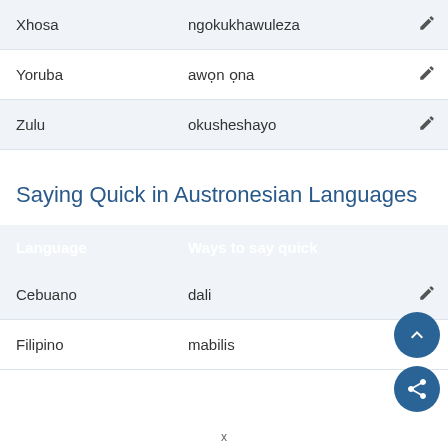| Language | Ways to say quick |  |
| --- | --- | --- |
| Xhosa | ngokukhawuleza |  |
| Yoruba | awọn ọna |  |
| Zulu | okusheshayo |  |
Saying Quick in Austronesian Languages
| Language | Ways to say quick |  |
| --- | --- | --- |
| Cebuano | dali |  |
| Filipino | mabilis |  |